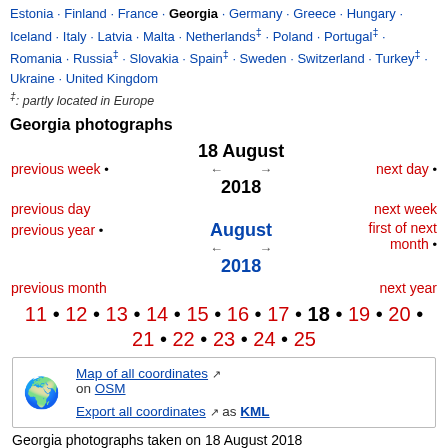Estonia · Finland · France · Georgia · Germany · Greece · Hungary · Iceland · Italy · Latvia · Malta · Netherlands‡ · Poland · Portugal‡ · Romania · Russia‡ · Slovakia · Spain‡ · Sweden · Switzerland · Turkey‡ · Ukraine · United Kingdom
‡: partly located in Europe
Georgia photographs
previous week • 18 August ← → next day • previous day 2018 next week first of next previous year • August ← → month • previous month 2018 next year
11 • 12 • 13 • 14 • 15 • 16 • 17 • 18 • 19 • 20 • 21 • 22 • 23 • 24 • 25
[Figure (infographic): Globe emoji with Map of all coordinates on OSM and Export all coordinates as KML links]
Georgia photographs taken on 18 August 2018